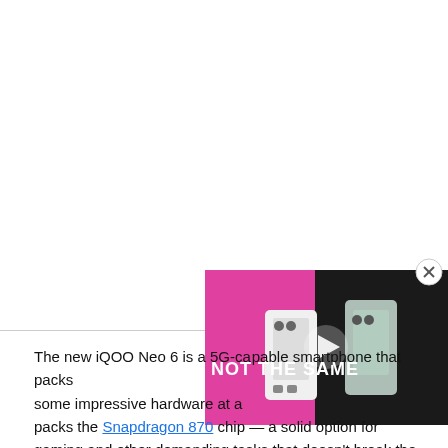[Figure (screenshot): A video overlay in the bottom-right corner showing phones with text 'NOT THE SAME' on a pink/dark background, with a play button in the center and a close (X circle) button in the top-right.]
The new iQOO Neo 6 is a 5G-capable smartphone that packs some impressive hardware at a competitive price. The device packs the Snapdragon 870 chip — a solid option for gaming and other demanding tasks that doesn't break the bank. The SoC is paired with up to 12GB RAM, 256GB